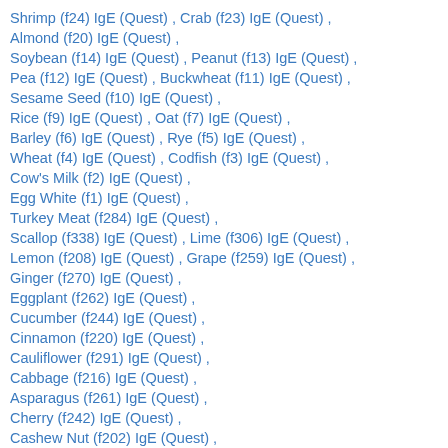Shrimp (f24) IgE (Quest) , Crab (f23) IgE (Quest) ,
Almond (f20) IgE (Quest) ,
Soybean (f14) IgE (Quest) , Peanut (f13) IgE (Quest) ,
Pea (f12) IgE (Quest) , Buckwheat (f11) IgE (Quest) ,
Sesame Seed (f10) IgE (Quest) ,
Rice (f9) IgE (Quest) , Oat (f7) IgE (Quest) ,
Barley (f6) IgE (Quest) , Rye (f5) IgE (Quest) ,
Wheat (f4) IgE (Quest) , Codfish (f3) IgE (Quest) ,
Cow's Milk (f2) IgE (Quest) ,
Egg White (f1) IgE (Quest) ,
Turkey Meat (f284) IgE (Quest) ,
Scallop (f338) IgE (Quest) , Lime (f306) IgE (Quest) ,
Lemon (f208) IgE (Quest) , Grape (f259) IgE (Quest) ,
Ginger (f270) IgE (Quest) ,
Eggplant (f262) IgE (Quest) ,
Cucumber (f244) IgE (Quest) ,
Cinnamon (f220) IgE (Quest) ,
Cauliflower (f291) IgE (Quest) ,
Cabbage (f216) IgE (Quest) ,
Asparagus (f261) IgE (Quest) ,
Cherry (f242) IgE (Quest) ,
Cashew Nut (f202) IgE (Quest) ,